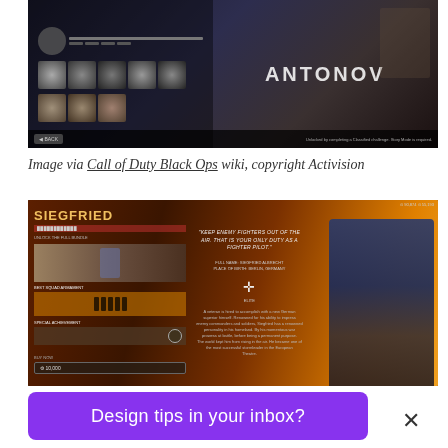[Figure (screenshot): Screenshot of Call of Duty character selection screen showing ANTONOV with a grid of character face options on a dark background]
Image via Call of Duty Black Ops wiki, copyright Activision
[Figure (screenshot): Screenshot of Call of Duty character details screen for SIEGFRIED showing character bio, quote about keeping enemy fighters out of the air, full name Siegfried Albrecht, place of birth Berlin Germany, and a character model of a WWI German military officer in blue uniform]
Design tips in your inbox?